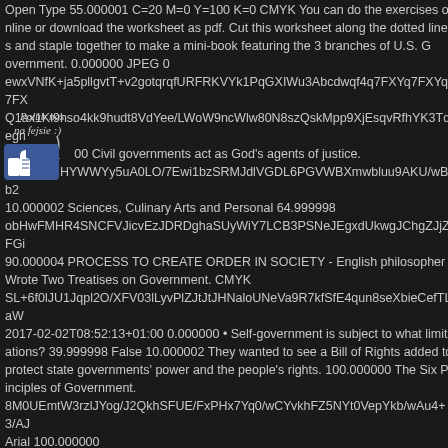Open Type 55.000001 C=20 M=0 Y=100 K=0 CMYK You can do the exercises online or download the worksheet as pdf. Cut this worksheet along the dotted lines and staple together to make a mini-book featuring the 3 branches of U.S. Government. 0.000000 JPEG 0 ewxVNfK+ja5pllgvtT+v2gotqrqfURFRKVYk1PqGXIWu3Abcdwqf4q7FXYq7FXYq7FX Q1ax1Kl9hso4kk9hudt8VdYee/LWoW9ncWlw80N8szQskMpp9XjEsqvRfhYK3Tqegri 0.000000 Civil governments act as God's agents of justice. yHYWWYy5uA0LO/7Ewi1bzSRMJdlVGDL6PGVWBXmwbluu9AKU/wBb2 10.000002 Sciences, Culinary Arts and Personal 64.999998 obHwFMHR4SNCFVJicvEzJDRDghaSUyWiY7LCB3PSNeJEgxdUkwgJChgZJjZFGi 90.000004 PROCESS TO CREATE ORDER IN SOCIETY - English philosopher - Wrote Two Treatises on Government. CMYK SL+6f0lJU1Jqpl2O/XFV03lLyvPlZJtJtJHNaloUNeVa9R7kfSfE4qun8seXbieCefTLaW 2017-02-02T08:52:13+01:00 0.000000 • Self-government is subject to what limitations? 39.999998 False 10.000002 They wanted to see a Bill of Rights added to protect state governments' power and the people's rights. 100.000000 The Six Principles of Government. 8M0UEmtW3rzlJYog/J2QkhSFUE/FxPHx7Yq0/wCYvkhFZ5NYt0VepYkb/wAu4+3/AJ Arial 100.000000 hqc9GeYs0Q9Lg3CMNxl78Rt1GKo3Rrb8wY7lW1Oa3lhELlVWQH968q0cgQRn4l6/t 60.000002 CMYK 0.000000 ONT6crKK9PoGKoZfy98qCJomtGkRjGSHlkbeKOSJf2vCeQ/Nq42qlbflr5Ptrm0ulbN1 qxC2TqBM9u6RFiyvXhKUY071IFKLiqDmsvzuFzdSW17pXpusCW6zB2o6lzK4VEUe
[Figure (illustration): Facebook 'Polub nas na fejsie' (Like us on Facebook) social widget with thumbs up icon and handwritten Polish text]